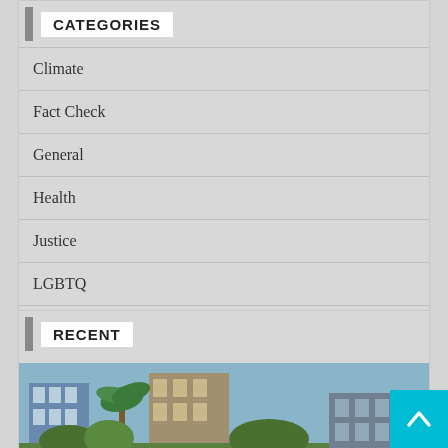CATEGORIES
Climate
Fact Check
General
Health
Justice
LGBTQ
Politics
Technology
RECENT
[Figure (photo): Outdoor photo showing buildings, palm trees, and vegetation]